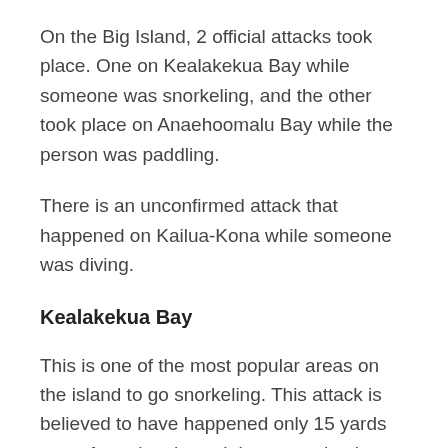On the Big Island, 2 official attacks took place. One on Kealakekua Bay while someone was snorkeling, and the other took place on Anaehoomalu Bay while the person was paddling.
There is an unconfirmed attack that happened on Kailua-Kona while someone was diving.
Kealakekua Bay
This is one of the most popular areas on the island to go snorkeling. This attack is believed to have happened only 15 yards away from the shore. It is reported to have taken place in August 2019.